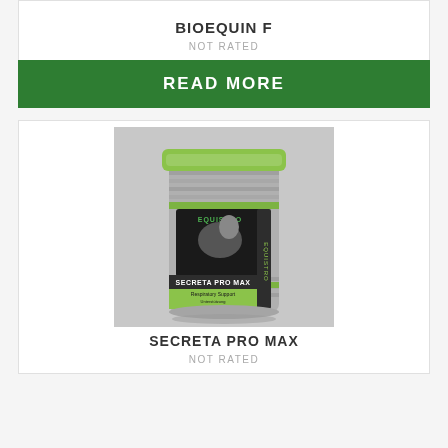BIOEQUIN F
NOT RATED
READ MORE
[Figure (photo): Equistro Secreta Pro Max product container — a cylindrical grey canister with bright green lid, black label featuring a white horse and the text SECRETA PRO MAX / Respiratory Support / Unterstützung des Respirationstraktes / Soutien respiratoire, 800g]
SECRETA PRO MAX
NOT RATED